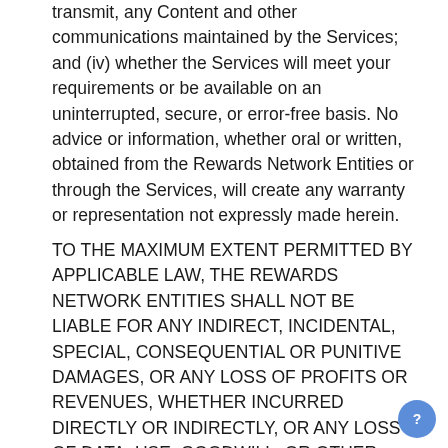transmit, any Content and other communications maintained by the Services; and (iv) whether the Services will meet your requirements or be available on an uninterrupted, secure, or error-free basis. No advice or information, whether oral or written, obtained from the Rewards Network Entities or through the Services, will create any warranty or representation not expressly made herein.
TO THE MAXIMUM EXTENT PERMITTED BY APPLICABLE LAW, THE REWARDS NETWORK ENTITIES SHALL NOT BE LIABLE FOR ANY INDIRECT, INCIDENTAL, SPECIAL, CONSEQUENTIAL OR PUNITIVE DAMAGES, OR ANY LOSS OF PROFITS OR REVENUES, WHETHER INCURRED DIRECTLY OR INDIRECTLY, OR ANY LOSS OF DATA, USE, GOODWILL, OR OTHER INTANGIBLE LOSSES, RESULTING FROM (i) YOUR ACCESS TO OR USE OF OR INABILITY TO ACCESS OR USE THE SERVICES; (ii) ANY CONDUCT OR CONTENT OF ANY THIRD PARTY ON THE SERVICES, INCLUDING WITHOUT LIMITATION, ANY DEFAMATORY, OFFENSIVE, OR